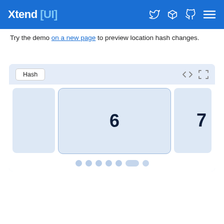Xtend [UI]
Try the demo on a new page to preview location hash changes.
[Figure (screenshot): Interactive UI demo widget labeled 'Hash' showing a carousel with slide 6 active (center card, highlighted border) and slide 7 partially visible on the right. Navigation dots below show position 6 of 7 selected (elongated pill shape). Code and fullscreen icons in top right of widget.]